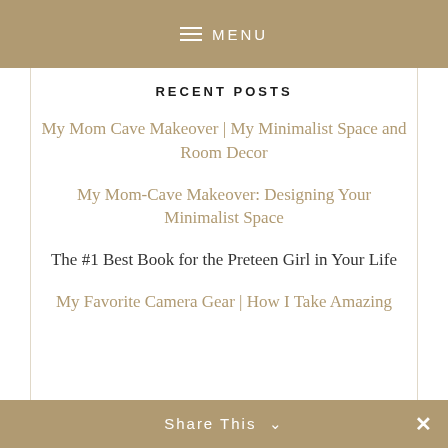≡ MENU
RECENT POSTS
My Mom Cave Makeover | My Minimalist Space and Room Decor
My Mom-Cave Makeover: Designing Your Minimalist Space
The #1 Best Book for the Preteen Girl in Your Life
My Favorite Camera Gear | How I Take Amazing
Privacy & Cookies: This site uses cookies. By continuing to use this website, you agree to their use.
To find out more, including how to control cookies, see here: Cookie Policy
Close and accept
Share This ∨  ✕